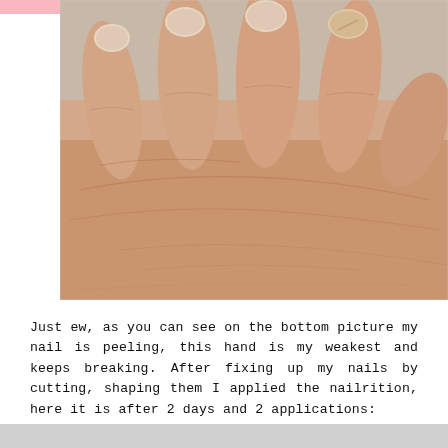[Figure (photo): Close-up photo of a human hand with fingers curled slightly, showing fingernails from above. Nails appear short and one nail (index finger) shows peeling/damage. Skin shows natural lines and texture of the palm/side of hand.]
Just ew, as you can see on the bottom picture my nail is peeling, this hand is my weakest and keeps breaking. After fixing up my nails by cutting, shaping them I applied the nailrition, here it is after 2 days and 2 applications: